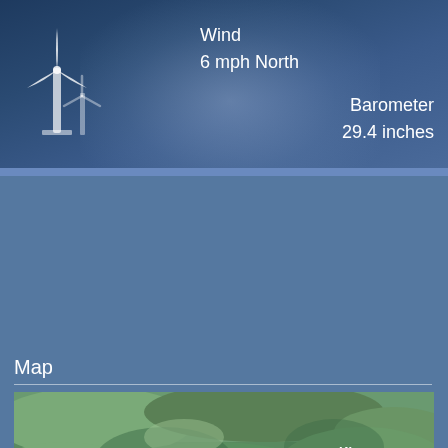[Figure (infographic): Weather widget showing wind turbine illustration with wind and barometer readings. Wind: 6 mph North. Barometer: 29.4 inches.]
Wind
6 mph North
Barometer
29.4 inches
Map
[Figure (map): Satellite map showing Russia's Volga Federal District region with cities including Kirov, Perm, Yaroslavl, Nizhny Novgorod, Cheboksary, Kazan, Izhevsk, Naberezhnye Chelny, Ufa, and partial labels for povets, mir, ow, Ryzdan. A purple location pin is placed in the center of the map near Kirov. Label 'VOLGA FD' visible. 'Satellite' label in bottom left corner.]